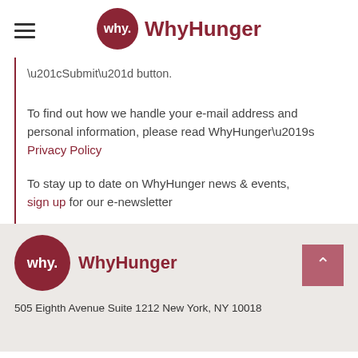WhyHunger
“Submit” button.
To find out how we handle your e-mail address and personal information, please read WhyHunger’s Privacy Policy
To stay up to date on WhyHunger news & events, sign up for our e-newsletter
505 Eighth Avenue Suite 1212 New York, NY 10018